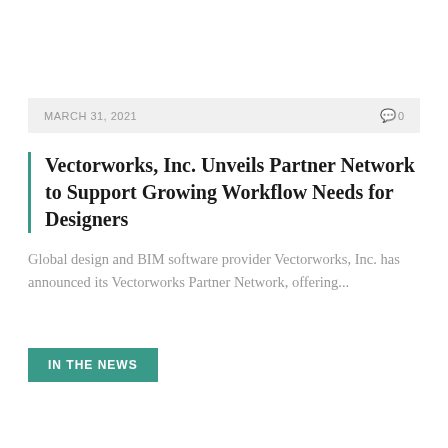MARCH 31, 2021   0
Vectorworks, Inc. Unveils Partner Network to Support Growing Workflow Needs for Designers
Global design and BIM software provider Vectorworks, Inc. has announced its Vectorworks Partner Network, offering...
IN THE NEWS